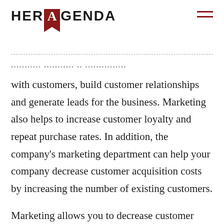HER AGENDA
…with customers, build customer relationships and generate leads for the business. Marketing also helps to increase customer loyalty and repeat purchase rates. In addition, the company's marketing department can help your company decrease customer acquisition costs by increasing the number of existing customers.
Marketing allows you to decrease customer acquisition costs for your business by providing an inexpensive way to reach potential customers. It can be done through various